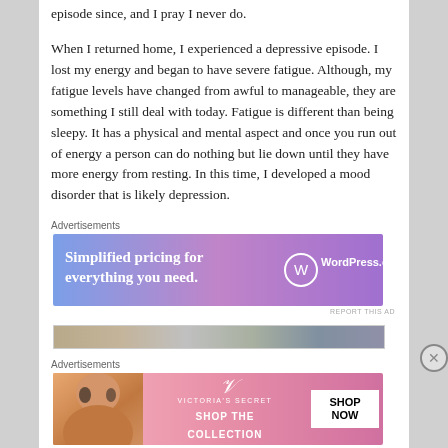episode since, and I pray I never do.
When I returned home, I experienced a depressive episode. I lost my energy and began to have severe fatigue. Although, my fatigue levels have changed from awful to manageable, they are something I still deal with today. Fatigue is different than being sleepy. It has a physical and mental aspect and once you run out of energy a person can do nothing but lie down until they have more energy from resting. In this time, I developed a mood disorder that is likely depression.
[Figure (screenshot): WordPress.com advertisement banner: 'Simplified pricing for everything you need.']
[Figure (screenshot): Victoria's Secret advertisement banner: 'Shop the Collection - Shop Now']